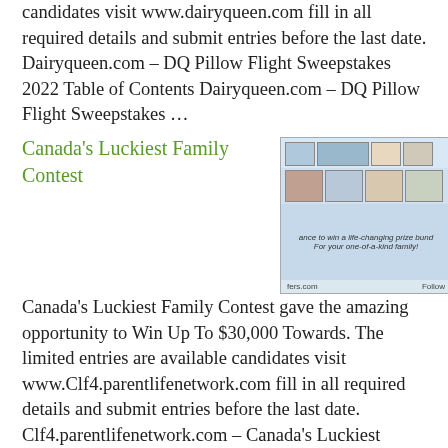candidates visit www.dairyqueen.com fill in all required details and submit entries before the last date. Dairyqueen.com – DQ Pillow Flight Sweepstakes 2022 Table of Contents Dairyqueen.com – DQ Pillow Flight Sweepstakes …
Canada's Luckiest Family Contest
[Figure (photo): Thumbnail image for Canada's Luckiest Family Contest showing a collage of family photos with text about winning a prize bundle.]
Canada's Luckiest Family Contest gave the amazing opportunity to Win Up To $30,000 Towards. The limited entries are available candidates visit www.Clf4.parentlifenetwork.com fill in all required details and submit entries before the last date. Clf4.parentlifenetwork.com – Canada's Luckiest Family Contest Table of Contents Clf4.parentlifenetwork.com – Canada's Luckiest Family ContestClf4.parentlifenetwork.com Contest Rules:Clf4.parentlifenetwork com Contest Prize:Clf4.parentlifenetwork.com Contest – Canada's …